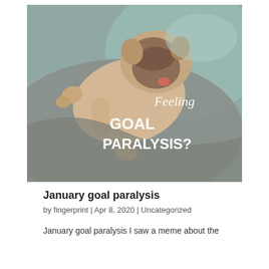[Figure (photo): A pug dog lying on its back on grey and teal bedding, tongue out, with white text overlay reading 'Feeling GOAL PARALYSIS?']
January goal paralysis
by fingerprint | Apr 8, 2020 | Uncategorized
January goal paralysis I saw a meme about the